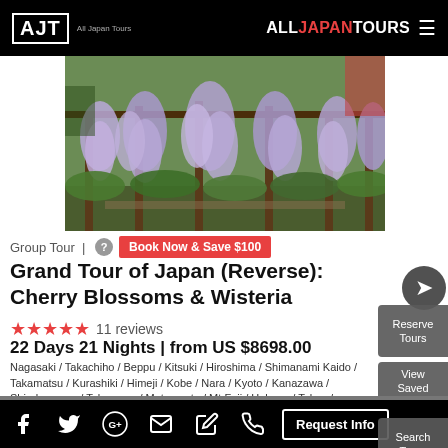AJT | ALLJAPANTOURS
[Figure (photo): Wisteria flowers hanging from pergola in a Japanese garden, purple/lavender blooms, lush green foliage below]
Group Tour | ? Book Now & Save $100
Grand Tour of Japan (Reverse): Cherry Blossoms & Wisteria
★★★★★ 11 reviews
22 Days 21 Nights | from US $8698.00
Nagasaki / Takachiho / Beppu / Kitsuki / Hiroshima / Shimanami Kaido / Takamatsu / Kurashiki / Himeji / Kobe / Nara / Kyoto / Kanazawa / Shirakawa-go / Takayama / Matsumoto / Mt Fuji / Hakone / Tokyo / Ashikaga / Nikko / Matsushima / Hiraizumi / Kitakami / Morioka / Seikan Tunnel / Hakodate / Lake Toya / Noboribetsu / Shiraoi / Otaru / Sapporo
Follow a cherry blossom route through Kyushu, Shikoku, Honshu, & Hokkaido and see Japan's beautiful wisteria flowers too.
Request Info | Social media icons